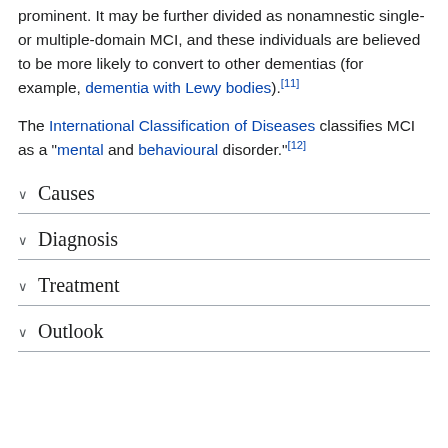prominent. It may be further divided as nonamnestic single- or multiple-domain MCI, and these individuals are believed to be more likely to convert to other dementias (for example, dementia with Lewy bodies).[11]
The International Classification of Diseases classifies MCI as a "mental and behavioural disorder."[12]
Causes
Diagnosis
Treatment
Outlook